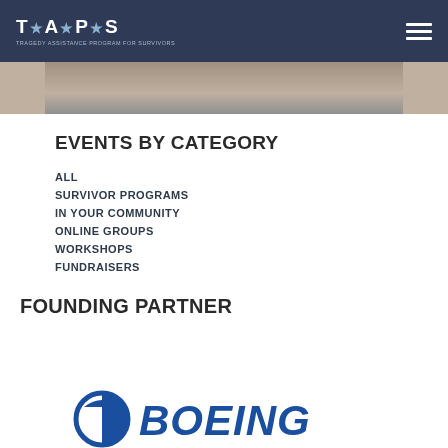TAPS - Tragedy Assistance Program for Survivors
[Figure (photo): Partial photo visible at top of page below navigation header]
EVENTS BY CATEGORY
ALL
SURVIVOR PROGRAMS
IN YOUR COMMUNITY
ONLINE GROUPS
WORKSHOPS
FUNDRAISERS
FOUNDING PARTNER
[Figure (logo): Boeing logo partially visible at bottom of page]